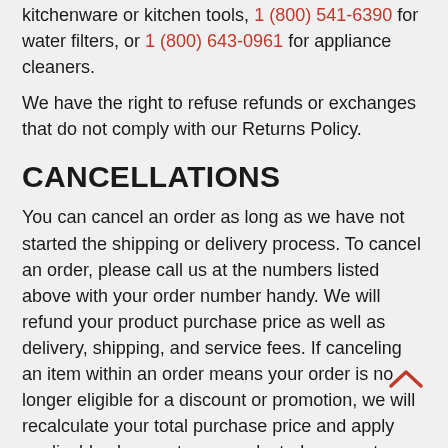kitchenware or kitchen tools, 1 (800) 541-6390 for water filters, or 1 (800) 643-0961 for appliance cleaners.
We have the right to refuse refunds or exchanges that do not comply with our Returns Policy.
CANCELLATIONS
You can cancel an order as long as we have not started the shipping or delivery process. To cancel an order, please call us at the numbers listed above with your order number handy. We will refund your product purchase price as well as delivery, shipping, and service fees. If canceling an item within an order means your order is no longer eligible for a discount or promotion, we will recalculate your total purchase price and apply applicable charges to your selected payment method.
If we have started the shipping or delivery process, you will need to initiate a return by following our return polic
You can check your order status at https://www.kitchenaid.com/track-my-order.html